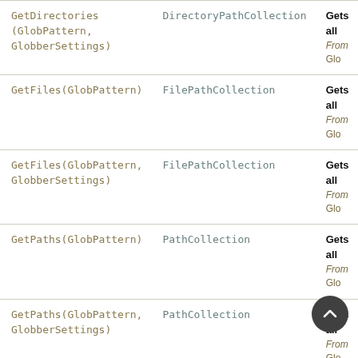| Method | Return Type | Description |
| --- | --- | --- |
| GetDirectories(GlobPattern, GlobberSettings) | DirectoryPathCollection | Gets all
From Glo |
| GetFiles(GlobPattern) | FilePathCollection | Gets all
From Glo |
| GetFiles(GlobPattern, GlobberSettings) | FilePathCollection | Gets all
From Glo |
| GetPaths(GlobPattern) | PathCollection | Gets all
From Glo |
| GetPaths(GlobPattern, GlobberSettings) | PathCollection | Gets all
From Glo |
| GetSubDirectories(DirectoryPath) | DirectoryPathCollection | Gets a li
From Dire |
| GitHubActions() | IGitHubActionsProvider | Gets a …
From Gi |
| GitLabCI() | IGitLabCIProvider | Gets a … |